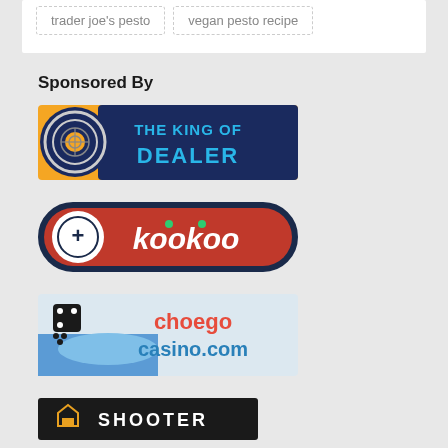trader joe's pesto
vegan pesto recipe
Sponsored By
[Figure (logo): The King of Dealer logo - circular target/spade icon with blue and dark text]
[Figure (logo): Kookoo logo - red pill-shaped button with plus icon and white/green text on dark border]
[Figure (logo): Choego Casino logo - light background with dice and hand graphic, red and blue text reading choego casino.com]
[Figure (logo): Shooter logo - partial dark banner with house icon and white text SHOOTER]